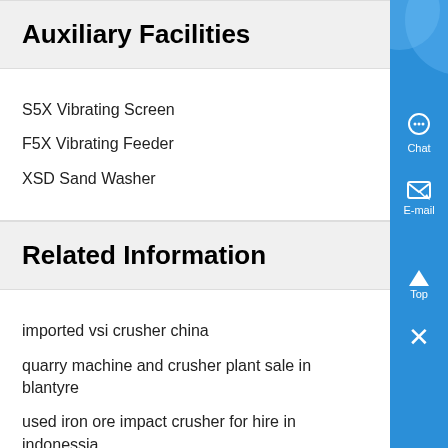Auxiliary Facilities
S5X Vibrating Screen
F5X Vibrating Feeder
XSD Sand Washer
Related Information
imported vsi crusher china
quarry machine and crusher plant sale in blantyre
used iron ore impact crusher for hire in indonessia
small scale home herb grinder
ton grinding unit cement plant cost in china